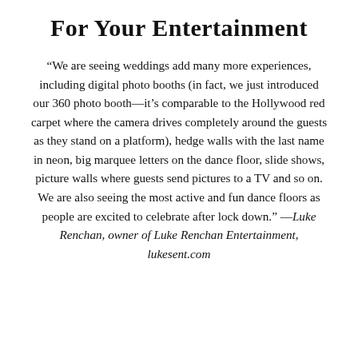For Your Entertainment
“We are seeing weddings add many more experiences, including digital photo booths (in fact, we just introduced our 360 photo booth—it’s comparable to the Hollywood red carpet where the camera drives completely around the guests as they stand on a platform), hedge walls with the last name in neon, big marquee letters on the dance floor, slide shows, picture walls where guests send pictures to a TV and so on. We are also seeing the most active and fun dance floors as people are excited to celebrate after lock down.” —Luke Renchan, owner of Luke Renchan Entertainment, lukesent.com